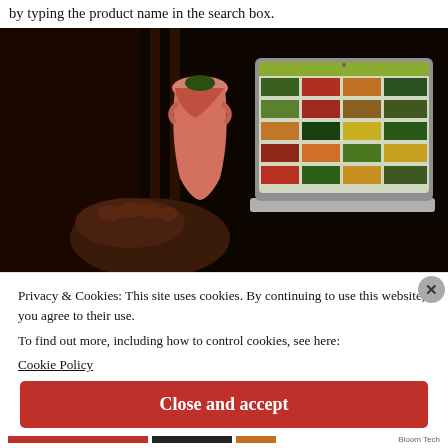by typing the product name in the search box.
[Figure (photo): A laptop computer showing a fruit/vegetable shopping website with colorful produce images on screen, with a pink vase in the background and a hand on the keyboard, set on a dark wooden surface.]
Privacy & Cookies: This site uses cookies. By continuing to use this website, you agree to their use.
To find out more, including how to control cookies, see here:
Cookie Policy
Close and accept